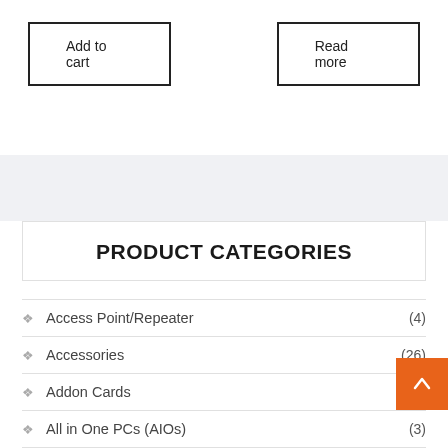Add to cart
Read more
PRODUCT CATEGORIES
Access Point/Repeater (4)
Accessories (26)
Addon Cards
All in One PCs (AIOs) (3)